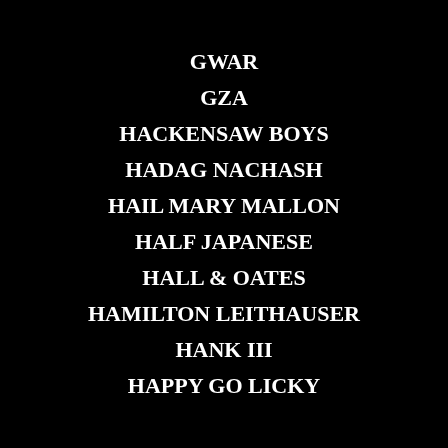GWAR
GZA
HACKENSAW BOYS
HADAG NACHASH
HAIL MARY MALLON
HALF JAPANESE
HALL & OATES
HAMILTON LEITHAUSER
HANK III
HAPPY GO LICKY